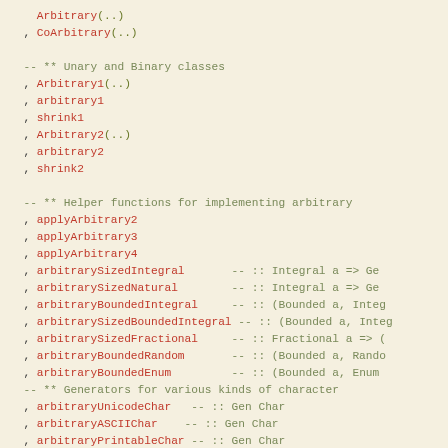Code listing showing Haskell module exports including Arbitrary, CoArbitrary, Arbitrary1, Arbitrary2, helper functions, and related type class instances